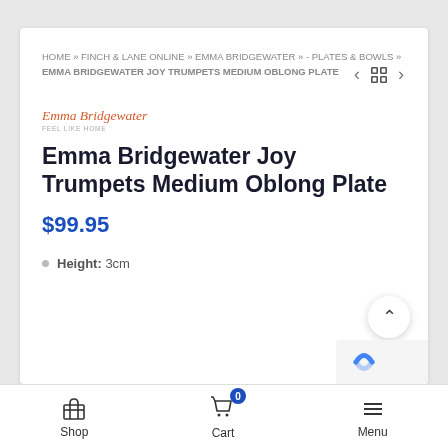HOME » FINCH & LANE ONLINE » EMMA BRIDGEWATER » - PLATES & BOWLS » EMMA BRIDGEWATER JOY TRUMPETS MEDIUM OBLONG PLATE
[Figure (logo): Emma Bridgewater brand logo in italic serif font with tagline FEEL LIKE HOME]
Emma Bridgewater Joy Trumpets Medium Oblong Plate
$99.95
Height: 3cm
Shop   Cart 0   Menu